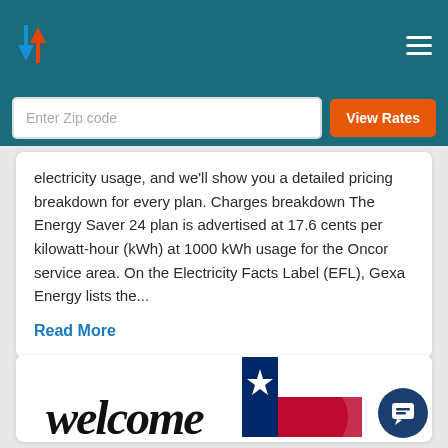Navigation header with logo and hamburger menu
Enter Zip code
View Rates
electricity usage, and we’ll show you a detailed pricing breakdown for every plan. Charges breakdown The Energy Saver 24 plan is advertised at 17.6 cents per kilowatt-hour (kWh) at 1000 kWh usage for the Oncor service area. On the Electricity Facts Label (EFL), Gexa Energy lists the…
Read More
[Figure (logo): Electricity comparison website logo with a Texas flag and stylized text at the bottom card]